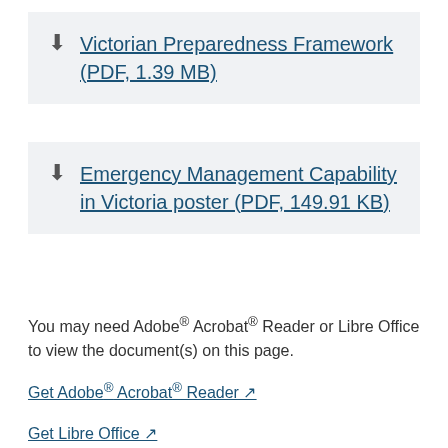Victorian Preparedness Framework (PDF, 1.39 MB)
Emergency Management Capability in Victoria poster (PDF, 149.91 KB)
You may need Adobe® Acrobat® Reader or Libre Office to view the document(s) on this page.
Get Adobe® Acrobat® Reader ↗
Get Libre Office ↗